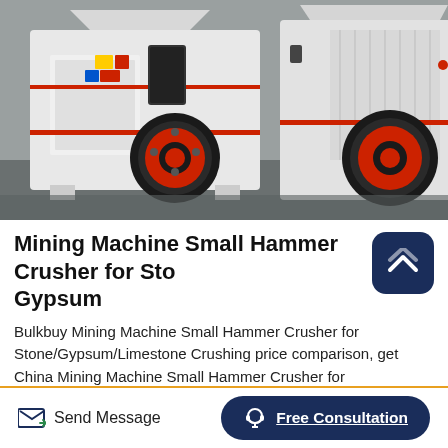[Figure (photo): Two large white and red industrial hammer crusher machines parked on a factory floor. Each machine has prominent black and red circular flywheels/pulleys on the side. The machines have a boxy rectangular body with a hopper opening at the top.]
Mining Machine Small Hammer Crusher for Stone/Gypsum
Bulkbuy Mining Machine Small Hammer Crusher for Stone/Gypsum/Limestone Crushing price comparison, get China Mining Machine Small Hammer Crusher for Stone/Gypsum/Limestone Crushing price comparison from Mining Crusher, Crusher manufacturers &amp; suppliers on Video Channel of
Send Message
Free Consultation